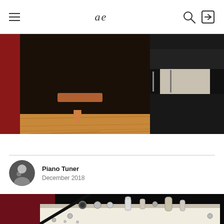ae — navigation header with hamburger menu, logo, search and login icons
[Figure (photo): Close-up photo of the base of a dark wooden audio speaker cabinet with copper-tipped cone feet on a warm wood floor, with reflective black and beige equipment visible to the right]
Piano Tuner
December 2018
[Figure (photo): Close-up photo of audio equipment components including knobs, tubes, and chrome fittings on a white chassis with black and dark red panels]